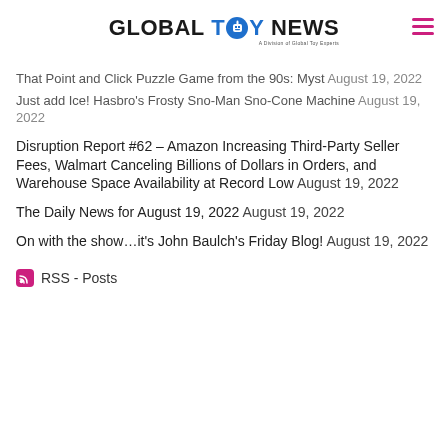GLOBAL TOY NEWS — A Division of Global Toy Experts
That Point and Click Puzzle Game from the 90s: Myst August 19, 2022
Just add Ice! Hasbro's Frosty Sno-Man Sno-Cone Machine August 19, 2022
Disruption Report #62 – Amazon Increasing Third-Party Seller Fees, Walmart Canceling Billions of Dollars in Orders, and Warehouse Space Availability at Record Low August 19, 2022
The Daily News for August 19, 2022 August 19, 2022
On with the show…it's John Baulch's Friday Blog! August 19, 2022
RSS - Posts